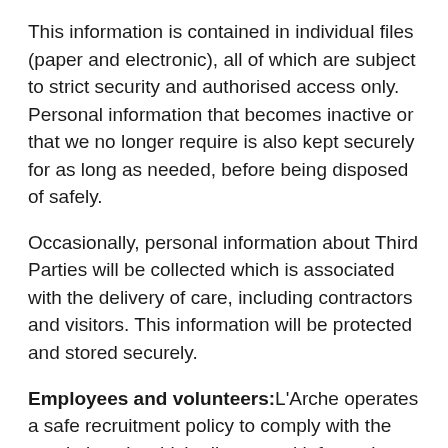This information is contained in individual files (paper and electronic), all of which are subject to strict security and authorised access only. Personal information that becomes inactive or that we no longer require is also kept securely for as long as needed, before being disposed of safely.
Occasionally, personal information about Third Parties will be collected which is associated with the delivery of care, including contractors and visitors. This information will be protected and stored securely.
Employees and volunteers: L'Arche operates a safe recruitment policy to comply with the regulations in which all personal information obtained, including CV's and references is securely kept, retained and disposed of in line with data protection requirements. All employees and volunteers are aware of their right to access any information about them.